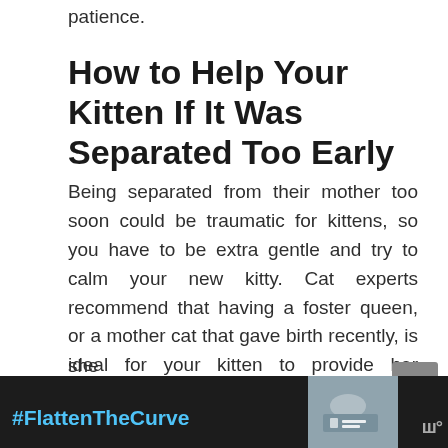patience.
How to Help Your Kitten If It Was Separated Too Early
Being separated from their mother too soon could be traumatic for kittens, so you have to be extra gentle and try to calm your new kitty. Cat experts recommend that having a foster queen, or a mother cat that gave birth recently, is ideal for your kitten to provide her physiological needs. If this is not feasible, you have to seek veterinary assistance. Keep the kitten in a warm, safe spot at home and she
[Figure (screenshot): Advertisement banner at bottom of page showing #FlattenTheCurve hashtag in blue text on dark background, with handwashing image and close button]